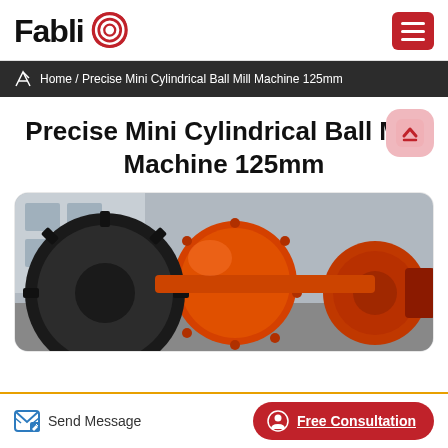FabliQ
Home / Precise Mini Cylindrical Ball Mill Machine 125mm
Precise Mini Cylindrical Ball Mill Machine 125mm
[Figure (photo): Large orange cylindrical ball mill machine with gear wheel and bolted drum, industrial setting]
Send Message
Free Consultation